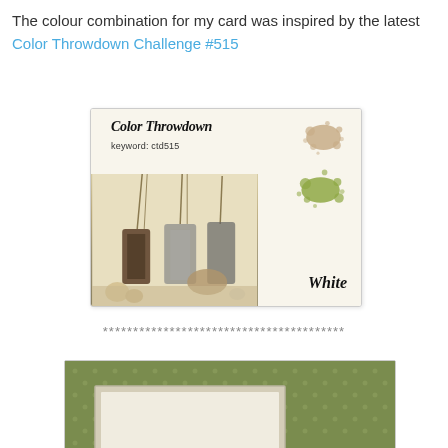The colour combination for my card was inspired by the latest Color Throwdown Challenge #515
[Figure (photo): Color Throwdown Challenge #515 inspiration card showing autumn decorative vases with grasses and pumpkins, with tan and green paint splats and the word White, keyword: ctd515]
****************************************
[Figure (photo): Bottom portion of a handmade card on olive green polka dot background paper, with a layered white and tan card base visible]